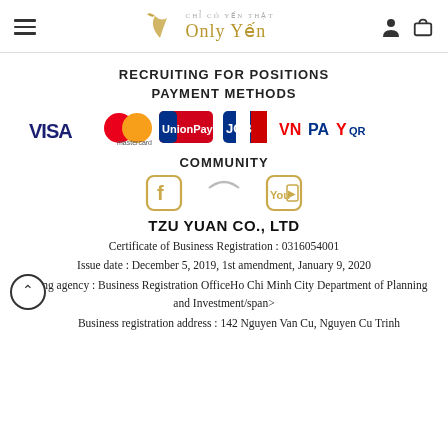Only Yến (logo header with hamburger menu and icons)
RECRUITING FOR POSITIONS
PAYMENT METHODS
[Figure (infographic): Payment method logos: VISA, Mastercard, UnionPay, JCB, VNPAYQR]
COMMUNITY
[Figure (infographic): Social media icons: Facebook, partially visible icon, YouTube]
TZU YUAN CO., LTD
Certificate of Business Registration : 0316054001
Issue date : December 5, 2019, 1st amendment, January 9, 2020
Issuing agency : Business Registration OfficeHo Chi Minh City Department of Planning and Investment/span>
Business registration address : 142 Nguyen Van Cu, Nguyen Cu Trinh